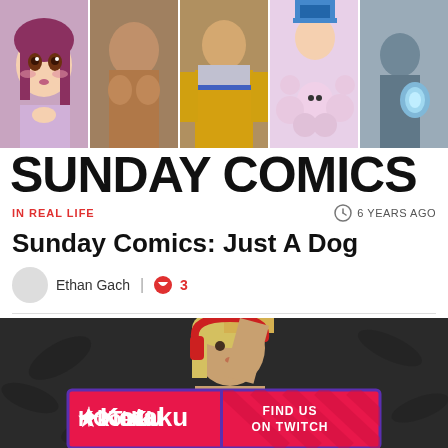[Figure (illustration): Sunday Comics banner header with five comic-style panels showing various animated characters: anime girl, muscular figure, action hero with armor, cartoon boy surrounded by creatures, and a figure with a glowing object]
SUNDAY COMICS
IN REAL LIFE
6 YEARS AGO
Sunday Comics: Just A Dog
Ethan Gach | 3
[Figure (photo): Photo of a person with blonde hair wearing red headphones, sitting in a gaming chair with a dark patterned background. Kotaku Twitch advertisement banner overlay at the bottom.]